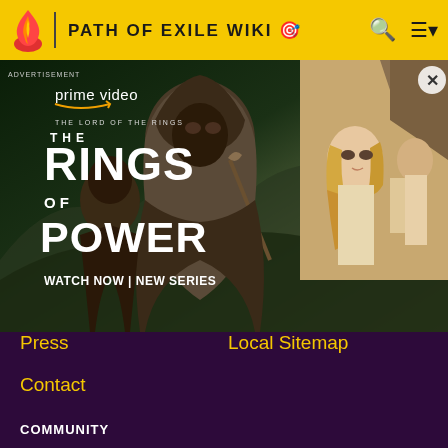PATH OF EXILE WIKI
[Figure (screenshot): Amazon Prime Video advertisement for 'The Lord of the Rings: The Rings of Power' new series. Left side shows text 'prime video', 'THE LORD OF THE RINGS', 'THE RINGS OF POWER', 'WATCH NOW | NEW SERIES' over a dramatic fantasy figure. Right side shows a blonde woman in a crowd.]
Press
Local Sitemap
Contact
COMMUNITY
Community Central
Help
Support